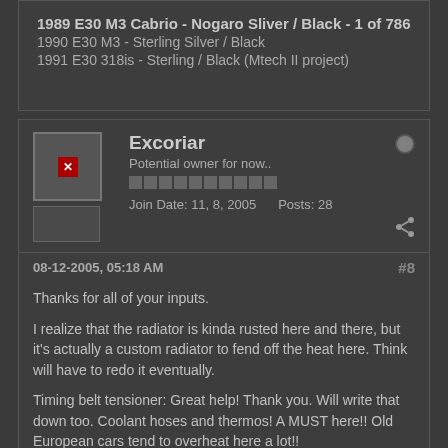1989 E30 M3 Cabrio - Nogaro Sliver / Black - 1 of 786
1990 E30 M3 - Sterling Silver / Black
1991 E30 318is - Sterling / Black (Mtech II project)
Excoriar
Potential owner for now..
Join Date: 11, 8, 2005   Posts: 28
08-12-2005, 05:18 AM
#8
Thanks for all of your inputs.
I realize that the radiator is kinda rusted here and there, but it's actually a custom radiator to fend off the heat here. Think will have to redo it eventually.
Timing belt tensioner: Great help! Thank you. Will write that down too. Coolant hoses and thermos! A MUST here!! Old European cars tend to overheat here a lot!!